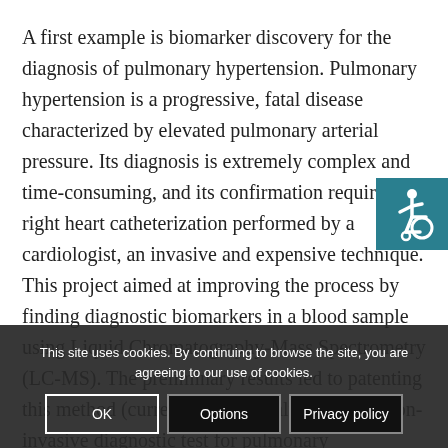A first example is biomarker discovery for the diagnosis of pulmonary hypertension. Pulmonary hypertension is a progressive, fatal disease characterized by elevated pulmonary arterial pressure. Its diagnosis is extremely complex and time-consuming, and its confirmation requires a right heart catheterization performed by a cardiologist, an invasive and expensive technique. This project aimed at improving the process by finding diagnostic biomarkers in a blood sample using Liquid Chromatography-Mass Spectrometry (LC-MS). The preliminary results led to patenting this method (currently under evaluation) as a non-invasive diagnostic test for pulmonary hypertension, considered a breakthrough in the
[Figure (illustration): Accessibility icon (wheelchair symbol) in teal/dark cyan square, top-right corner]
This site uses cookies. By continuing to browse the site, you are agreeing to our use of cookies.